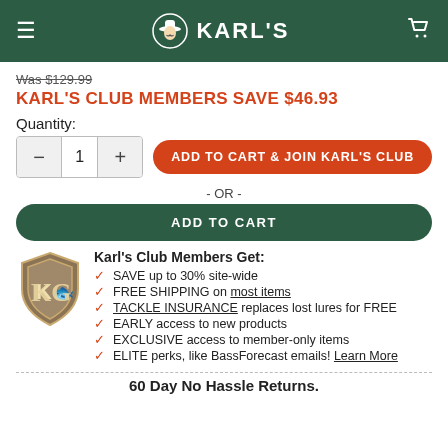[Figure (logo): Karl's fishing store header with hamburger menu, Karl's logo (man with fishing hat icon), and shopping cart icon on dark green background]
Was $129.99
KARL'S CLUB MEMBERS SAVE $46.93
Quantity:
[Figure (other): Quantity selector with minus button, number 1, plus button; orange rounded button 'ADD TO CART & JOIN KARL'S CLUB'; '- OR -' divider; dark green rounded button 'ADD TO CART']
[Figure (logo): Karl's Club shield logo with KG letters]
Karl's Club Members Get:
SAVE up to 30% site-wide
FREE SHIPPING on most items
TACKLE INSURANCE replaces lost lures for FREE
EARLY access to new products
EXCLUSIVE access to member-only items
ELITE perks, like BassForecast emails! Learn More
60 Day No Hassle Returns.